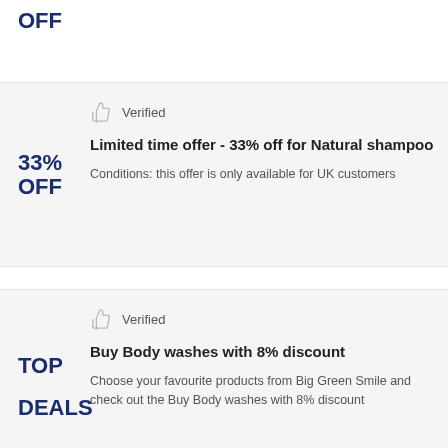OFF
Verified
Limited time offer - 33% off for Natural shampoo
Conditions: this offer is only available for UK customers
33% OFF
Verified
Buy Body washes with 8% discount
Choose your favourite products from Big Green Smile and check out the Buy Body washes with 8% discount
TOP DEALS